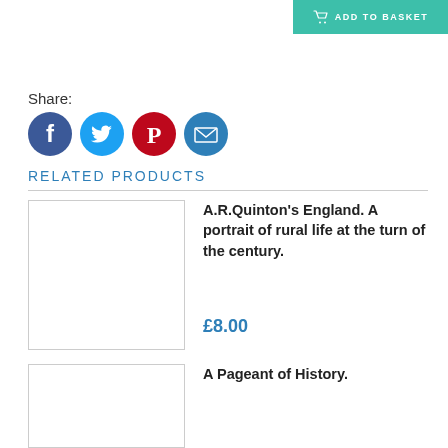[Figure (other): Add to Basket button with shopping cart icon, teal background]
Share:
[Figure (other): Social sharing icons: Facebook (blue), Twitter (light blue), Pinterest (red), Email (blue)]
RELATED PRODUCTS
[Figure (other): Product image placeholder for A.R.Quinton's England book]
A.R.Quinton's England. A portrait of rural life at the turn of the century.
£8.00
[Figure (other): Product image placeholder for A Pageant of History]
A Pageant of History.